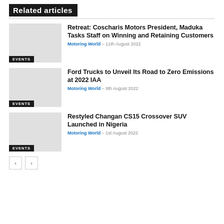Related articles
Retreat: Coscharis Motors President, Maduka Tasks Staff on Winning and Retaining Customers | Motoring World - 11th August 2022
Ford Trucks to Unveil Its Road to Zero Emissions at 2022 IAA | Motoring World - 9th August 2022
Restyled Changan CS15 Crossover SUV Launched in Nigeria | Motoring World - 1st August 2022